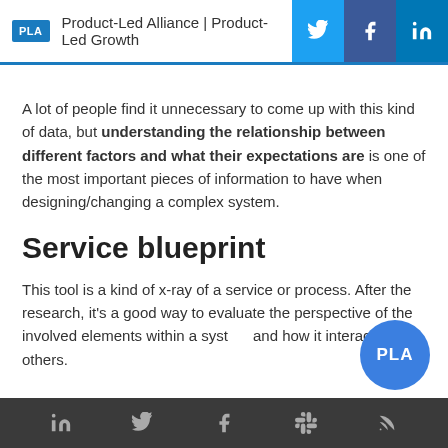PLA  Product-Led Alliance | Product-Led Growth
A lot of people find it unnecessary to come up with this kind of data, but understanding the relationship between different factors and what their expectations are is one of the most important pieces of information to have when designing/changing a complex system.
Service blueprint
This tool is a kind of x-ray of a service or process. After the research, it's a good way to evaluate the perspective of the involved elements within a system and how it interacts with others.
LinkedIn  Twitter  Facebook  Slack  RSS